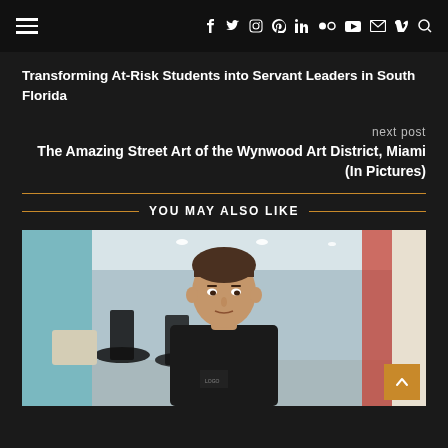Navigation bar with hamburger menu and social/utility icons
Transforming At-Risk Students into Servant Leaders in South Florida
next post
The Amazing Street Art of the Wynwood Art District, Miami (In Pictures)
YOU MAY ALSO LIKE
[Figure (photo): Man in a black polo shirt standing in a modern hallway/event space with round tables and chairs in the background]